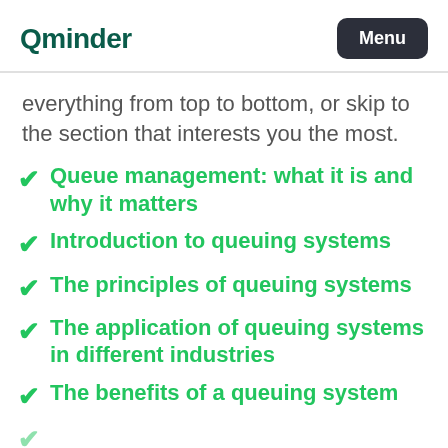Qminder | Menu
everything from top to bottom, or skip to the section that interests you the most.
Queue management: what it is and why it matters
Introduction to queuing systems
The principles of queuing systems
The application of queuing systems in different industries
The benefits of a queuing system